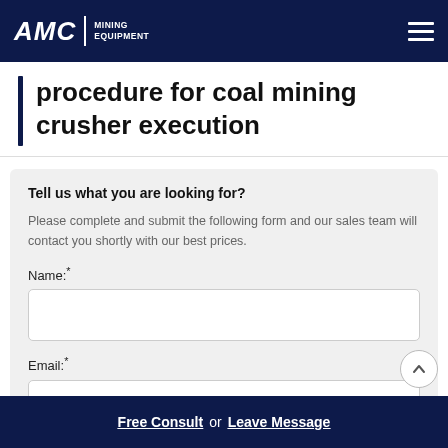AMC MINING EQUIPMENT
procedure for coal mining crusher execution
Tell us what you are looking for?
Please complete and submit the following form and our sales team will contact you shortly with our best prices.
Name:*
Email:*
Free Consult  or  Leave Message